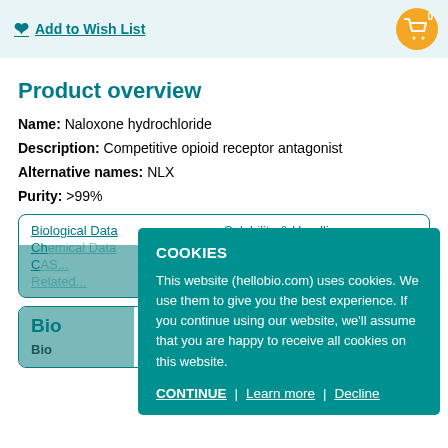Add to Wish List
Product overview
Name: Naloxone hydrochloride
Description: Competitive opioid receptor antagonist
Alternative names: NLX
Purity: >99%
Biological Data
Solubility & Handling
Chemical Data
Related A...
CAS...
References
Related...
Biological Data
Biological description: ... with high affinity at μ-opioid receptors.
COOKIES

This website (hellobio.com) uses cookies. We use them to give you the best experience. If you continue using our website, we'll assume that you are happy to receive all cookies on this website.

CONTINUE | Learn more | Decline